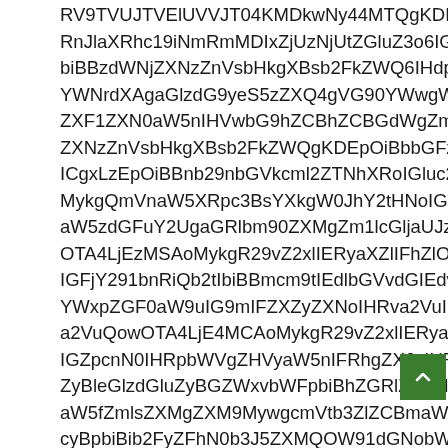RV9TVUJTVElUVVRJT04KMDkwNy44MTQgKDMp
RnJlaXRhc19iNmRmMDIxZjUzNjUtZGluZ3o6IGRiOi
biBBzdWNjZXNzZnVsbHkgXBsb2FkZWQ6IHdpbGw
YWNrdXAgaGlzdG9yeS5zZXQ4gVG90YWwgWmFja
ZXF1ZXN0aW5nIHVwbG9hZCBhZCBGdWgZmlsZXM
ZXNzZnVsbHkgXBsb2FkZWQgKDEpOiBbbGFzdCBu
ICgxLzEpOiBBnb29nbGVkcml2ZTNhXRoIGluc2Nyd
MykgQmVnaW5XRpc3BsYXkgW0JhY2tHNoIG9mIG
aW5zdGFuY2UgaGRlbm90ZXMgZm1lcGljaUJzLLWU1M2
OTA4LjEzMSAoMykgR29vZ2xlIERyaXZlIFhZlOiBFUJjo
IGFjY291bnRiQb2tIbiBBmcm9tIEdlbGVvdGIEdvb0
YWxpZGF0aW9uIG9mIFZXZyZXNoIHRva2VuIFG5
a2VuQowOTA4LjE4MCAoMykgR29vZ2xlIERyaXZl
IGZpcnN0IHRpbWVgZHVyaW5nIFRhgZXJoIHRob0Cj
ZyBleGlzdGluZyBGZWxvbWFpbiBhZGRlZCBHluZA
aW5fZmlsZXMgZXM9MywgcmVtb3ZlZCBmaWxlcyA
cyBpbiBib2FyZFhN0b3J5ZXMQOW91dGNobWsrNTog